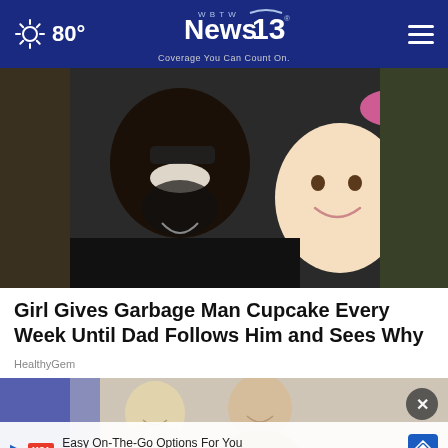80° WBTW News 13 Coverage You Can Count On.
[Figure (photo): A man with sunglasses and a beard smiling closely with a young toddler girl wearing a pink bow]
Girl Gives Garbage Man Cupcake Every Week Until Dad Follows Him and Sees Why
HealthyGem
[Figure (photo): A group of people smiling, with an advertisement overlay for McAlister's Deli: Easy On-The-Go Options For You]
Easy On-The-Go Options For You McAlister's Deli